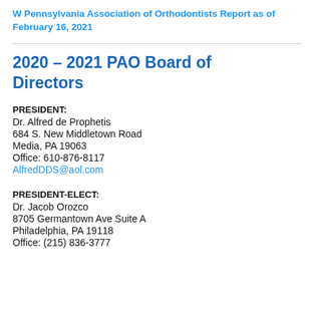W Pennsylvania Association of Orthodontists Report as of February 16, 2021
2020 – 2021 PAO Board of Directors
PRESIDENT:
Dr. Alfred de Prophetis
684 S. New Middletown Road
Media, PA 19063
Office: 610-876-8117
AlfredDDS@aol.com
PRESIDENT-ELECT:
Dr. Jacob Orozco
8705 Germantown Ave Suite A
Philadelphia, PA 19118
Office: (215) 836-3777